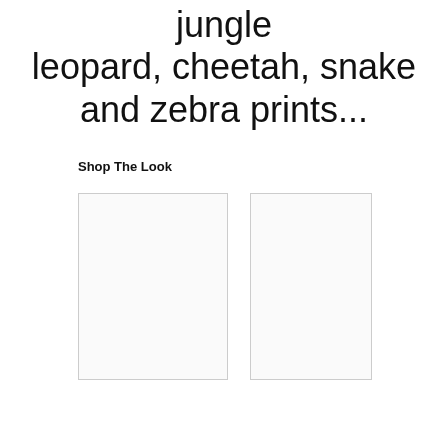jungle leopard, cheetah, snake and zebra prints...
Shop The Look
[Figure (photo): Two product image placeholders side by side, shown as white rectangles with light gray borders]